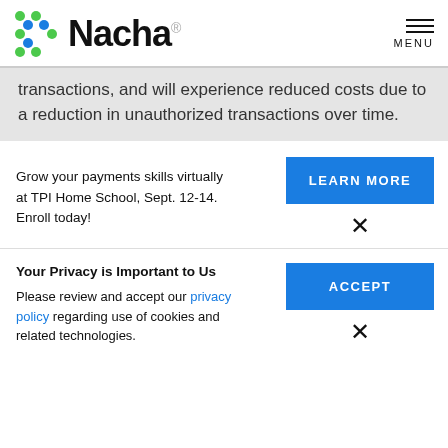[Figure (logo): Nacha logo with colored dots and bold Nacha wordmark]
transactions, and will experience reduced costs due to a reduction in unauthorized transactions over time.
Grow your payments skills virtually at TPI Home School, Sept. 12-14. Enroll today!
LEARN MORE
Your Privacy is Important to Us
Please review and accept our privacy policy regarding use of cookies and related technologies.
ACCEPT